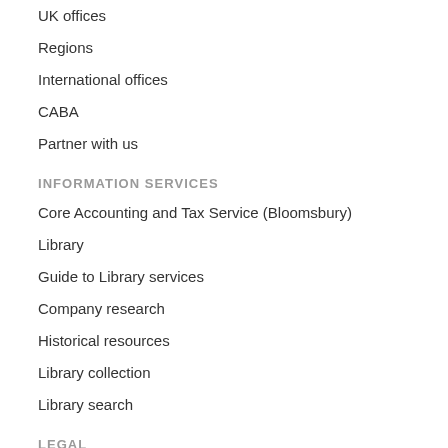UK offices
Regions
International offices
CABA
Partner with us
INFORMATION SERVICES
Core Accounting and Tax Service (Bloomsbury)
Library
Guide to Library services
Company research
Historical resources
Library collection
Library search
LEGAL
ICAEW policies
Modern Slavery Statement